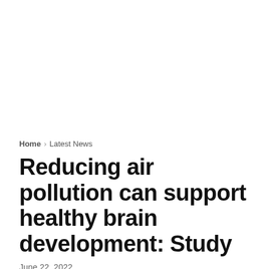Home > Latest News
Reducing air pollution can support healthy brain development: Study
June 22, 2022
[Figure (other): Social sharing buttons: Facebook, Twitter, LinkedIn, Google+, WhatsApp, Telegram, Share]